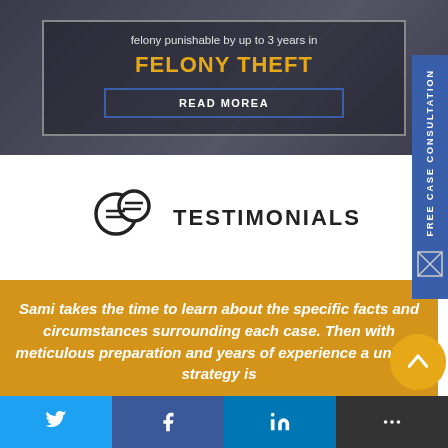felony punishable by up to 3 years in
FELONY THEFT
READ MOREA
TESTIMONIALS
Sami takes the time to learn about the specific facts and circumstances surrounding each case. Then with meticulous preparation and years of experience a unique strategy is
FREE CASE CONSULTATION